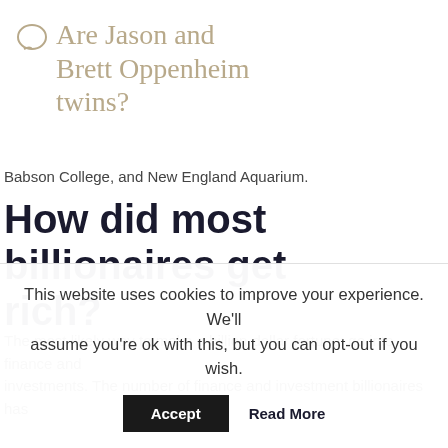Are Jason and Brett Oppenheim twins?
Babson College, and New England Aquarium.
How did most billionaires get rich?
The most likely way to make a billion-dollar fortune: go into finance and investments. The number of finance and investment billionaires has
This website uses cookies to improve your experience. We'll assume you're ok with this, but you can opt-out if you wish.
Accept   Read More